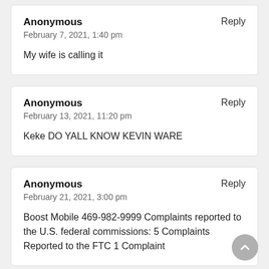Anonymous | Reply
February 7, 2021, 1:40 pm

My wife is calling it
Anonymous | Reply
February 13, 2021, 11:20 pm

Keke DO YALL KNOW KEVIN WARE
Anonymous | Reply
February 21, 2021, 3:00 pm

Boost Mobile 469-982-9999 Complaints reported to the U.S. federal commissions: 5 Complaints Reported to the FTC 1 Complaint